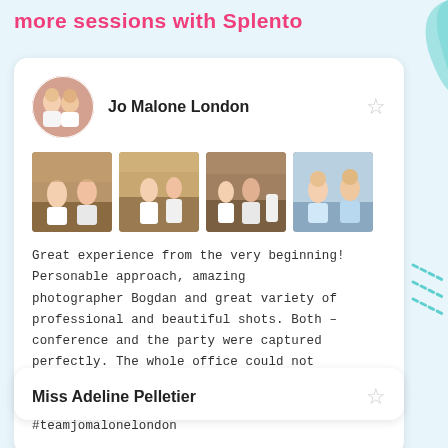more sessions with Splento
[Figure (photo): Review card for Jo Malone London with circular avatar photo of two women, four event photography thumbnails, and a text review]
Great experience from the very beginning! Personable approach, amazing photographer Bogdan and great variety of professional and beautiful shots. Both – conference and the party were captured perfectly. The whole office could not believe how quickly we got retouched images!!! Highly recommended. #teamjomalonelondon
[Figure (photo): Beginning of a second review card for Miss Adeline Pelletier, partially visible at bottom]